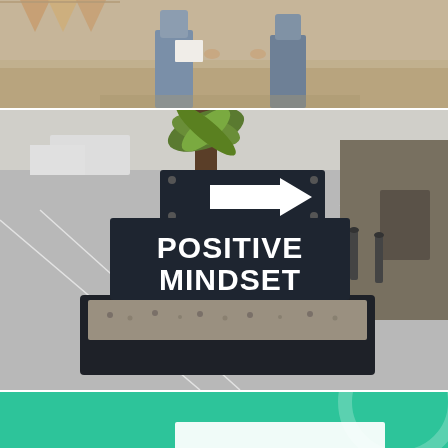[Figure (photo): Two people standing facing each other, both wearing jeans; one appears to be holding papers or a document. Background includes decorative geometric bunting flags and a warm interior setting.]
[Figure (photo): Outdoor scene in a parking lot with a dark chalkboard-style sign reading 'POSITIVE MINDSET' in bold white capital letters sitting in a planter box filled with gravel and a palm/yucca plant. Above the sign is a white arrow sign pointing right. Stone building and bollards visible in background.]
[Figure (photo): Teal/emerald green graphic background with a partial translucent circle arc on the right side and a white rectangular card partially visible at the bottom center.]